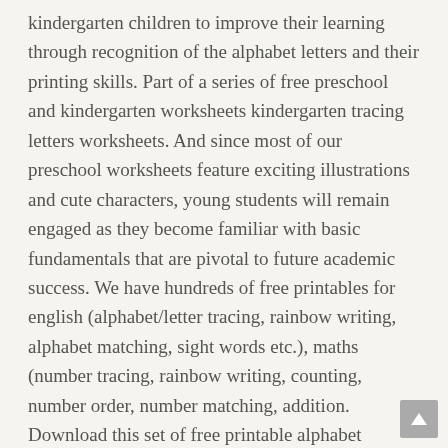kindergarten children to improve their learning through recognition of the alphabet letters and their printing skills. Part of a series of free preschool and kindergarten worksheets kindergarten tracing letters worksheets. And since most of our preschool worksheets feature exciting illustrations and cute characters, young students will remain engaged as they become familiar with basic fundamentals that are pivotal to future academic success. We have hundreds of free printables for english (alphabet/letter tracing, rainbow writing, alphabet matching, sight words etc.), maths (number tracing, rainbow writing, counting, number order, number matching, addition. Download this set of free printable alphabet worksheets. This is the place for simple activity ideas for learning and fun… all at the click of a mouse. While tracing these numbers, it will sharpen their writing skills. age rating introduction printable worksheets. .free printable shape worksheets, which will help your child to learn their 2d shapes and to improve their fine motor skills.